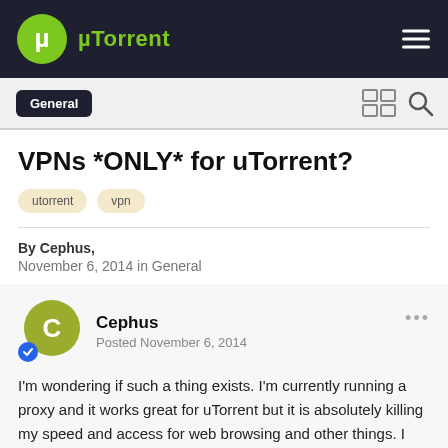µTorrent
General
VPNs *ONLY* for uTorrent?
utorrent
vpn
By Cephus,
November 6, 2014 in General
Cephus
Posted November 6, 2014
I'm wondering if such a thing exists.  I'm currently running a proxy and it works great for uTorrent but it is absolutely killing my speed and access for web browsing and other things.  I can't log on to my bank because it thinks I'm from Upper Whateveristan.  Google thinks